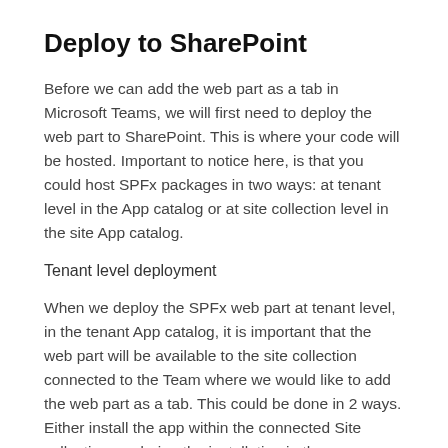Deploy to SharePoint
Before we can add the web part as a tab in Microsoft Teams, we will first need to deploy the web part to SharePoint. This is where your code will be hosted. Important to notice here, is that you could host SPFx packages in two ways: at tenant level in the App catalog or at site collection level in the site App catalog.
Tenant level deployment
When we deploy the SPFx web part at tenant level, in the tenant App catalog, it is important that the web part will be available to the site collection connected to the Team where we would like to add the web part as a tab. This could be done in 2 ways. Either install the app within the connected Site collection, or during the installation in the